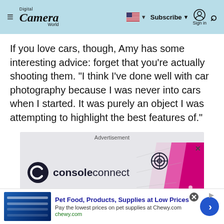Digital Camera World — Subscribe | Sign in
If you love cars, though, Amy has some interesting advice: forget that you’re actually shooting them. “I think I’ve done well with car photography because I was never into cars when I started. It was purely an object I was attempting to highlight the best features of.”
[Figure (screenshot): Advertisement for consoleconnect showing brand logo with a pink/magenta network graphic on the right side]
[Figure (screenshot): Bottom advertisement banner: Pet Food, Products, Supplies at Low Prices - Pay the lowest prices on pet supplies at Chewy.com, chewy.com]